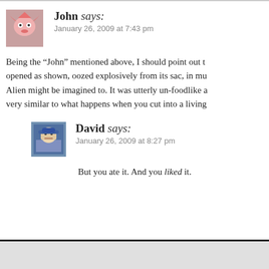John says: January 26, 2009 at 7:43 pm
Being the “John” mentioned above, I should point out that it opened as shown, oozed explosively from its sac, in much the way an Alien might be imagined to. It was utterly un-foodlike and, very similar to what happens when you cut into a living...
David says: January 26, 2009 at 8:27 pm
But you ate it. And you liked it.